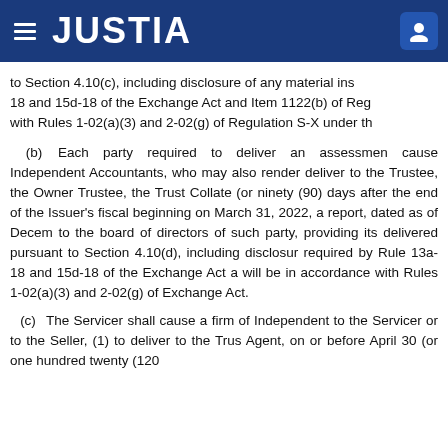JUSTIA
to Section 4.10(c), including disclosure of any material ins 18 and 15d-18 of the Exchange Act and Item 1122(b) of Reg with Rules 1-02(a)(3) and 2-02(g) of Regulation S-X under th
(b) Each party required to deliver an assessment cause Independent Accountants, who may also render deliver to the Trustee, the Owner Trustee, the Trust Collate (or ninety (90) days after the end of the Issuer's fiscal beginning on March 31, 2022, a report, dated as of Decem to the board of directors of such party, providing its delivered pursuant to Section 4.10(d), including disclosur required by Rule 13a-18 and 15d-18 of the Exchange Act a will be in accordance with Rules 1-02(a)(3) and 2-02(g) of Exchange Act.
(c) The Servicer shall cause a firm of Independent to the Servicer or to the Seller, (1) to deliver to the Trus Agent, on or before April 30 (or one hundred twenty (120